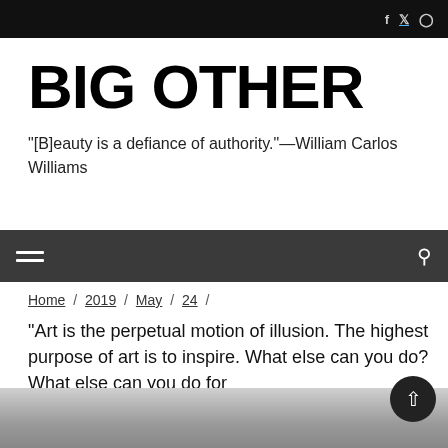Social icons: f, twitter, instagram
BIG OTHER
"[B]eauty is a defiance of authority."—William Carlos Williams
Navigation bar with hamburger menu and search icon
Home / 2019 / May / 24 /
"Art is the perpetual motion of illusion. The highest purpose of art is to inspire. What else can you do? What else can you do for
[Figure (photo): Black and white photograph of a large brick building, possibly a warehouse or institutional structure, with people visible in the foreground.]